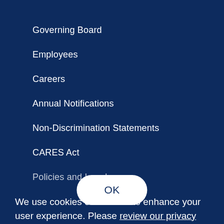Governing Board
Employees
Careers
Annual Notifications
Non-Discrimination Statements
CARES Act
Policies and Legal
We use cookies on this site to enhance your user experience. Please review our privacy policy for more information.
OK